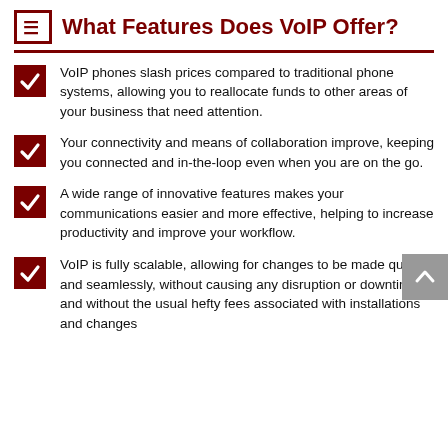What Features Does VoIP Offer?
VoIP phones slash prices compared to traditional phone systems, allowing you to reallocate funds to other areas of your business that need attention.
Your connectivity and means of collaboration improve, keeping you connected and in-the-loop even when you are on the go.
A wide range of innovative features makes your communications easier and more effective, helping to increase productivity and improve your workflow.
VoIP is fully scalable, allowing for changes to be made quickly and seamlessly, without causing any disruption or downtime, and without the usual hefty fees associated with installations and changes